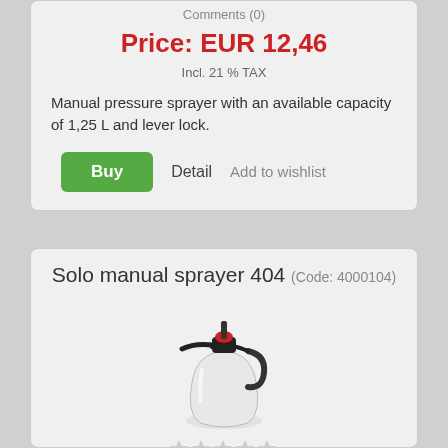Comments (0)
Price: EUR 12,46
Incl. 21 % TAX
Manual pressure sprayer with an available capacity of 1,25 L and lever lock.
Buy  Detail  Add to wishlist
Solo manual sprayer 404 (Code: 4000104)
[Figure (photo): Solo manual sprayer 404 - a clear plastic hand pressure sprayer bottle with black pump top and red button, with a spray wand/nozzle on the side]
Comments (0)
Price: EUR 13,39
Incl. 21 % TAX